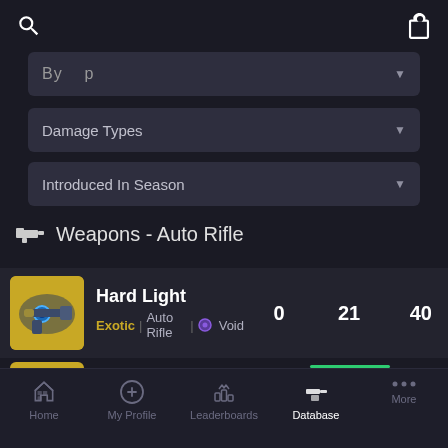Search | Gift icon
By [type] (partially visible dropdown)
Damage Types (dropdown)
Introduced In Season (dropdown)
Weapons - Auto Rifle
| Name | Power | Impact | Range |
| --- | --- | --- | --- |
| Hard Light (Exotic | Auto Rifle | Void) | 0 | 21 | 40 |
Home | My Profile | Leaderboards | Database | More